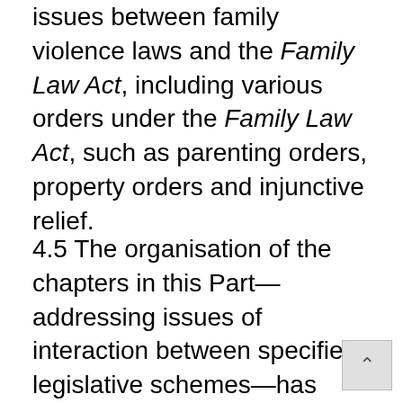Chapters 10 to 13 discuss interaction issues between family violence laws and the Family Law Act, including various orders under the Family Law Act, such as parenting orders, property orders and injunctive relief.
4.5 The organisation of the chapters in this Part—addressing issues of interaction between specified legislative schemes—has been decided upon for convenience in writing, and to address the specific interactions of legal frameworks referred to in the Terms of